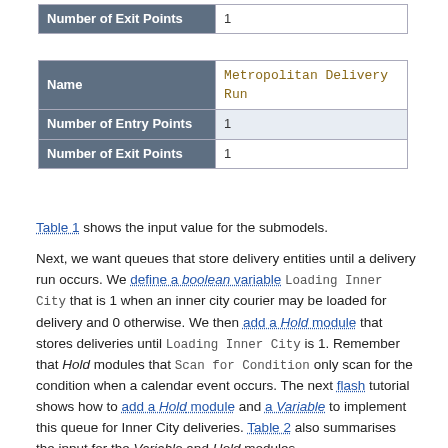| Number of Exit Points |  |
| --- | --- |
| Number of Exit Points | 1 |
| Name | Metropolitan Delivery Run |
| --- | --- |
| Name | Metropolitan Delivery Run |
| Number of Entry Points | 1 |
| Number of Exit Points | 1 |
Table 1 shows the input value for the submodels.
Next, we want queues that store delivery entities until a delivery run occurs. We define a boolean variable Loading Inner City that is 1 when an inner city courier may be loaded for delivery and 0 otherwise. We then add a Hold module that stores deliveries until Loading Inner City is 1. Remember that Hold modules that Scan for Condition only scan for the condition when a calendar event occurs. The next flash tutorial shows how to add a Hold module and a Variable to implement this queue for Inner City deliveries. Table 2 also summarises the input for the Variable and Hold modules.